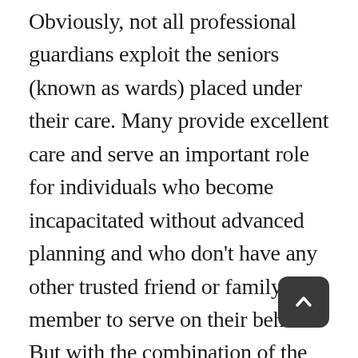Obviously, not all professional guardians exploit the seniors (known as wards) placed under their care. Many provide excellent care and serve an important role for individuals who become incapacitated without advanced planning and who don't have any other trusted friend or family member to serve on their behalf. But with the combination of the exploding elderly population—many of whom will require guardians—and our overloaded court system, such abuse could become more common place. Indeed, as the swelling aging population strains court resources, strict oversight of professional guardians is likely to become increasingly more difficult, enabling unscrupulous guardians to